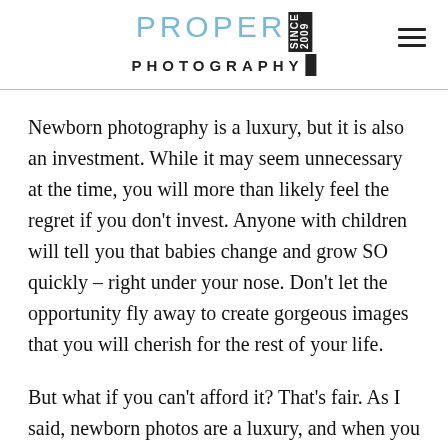PROPER PHOTOGRAPHY
Newborn photography is a luxury, but it is also an investment. While it may seem unnecessary at the time, you will more than likely feel the regret if you don’t invest. Anyone with children will tell you that babies change and grow SO quickly – right under your nose. Don’t let the opportunity fly away to create gorgeous images that you will cherish for the rest of your life.
But what if you can’t afford it? That’s fair. As I said, newborn photos are a luxury, and when you have so many other expenses to think about with a new baby, it may seem rather low-priority. When you book a session